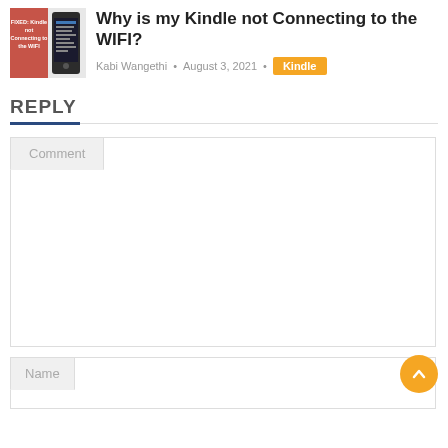[Figure (screenshot): Thumbnail image of a Kindle device with text overlay 'FIXED: Kindle not Connecting to the WIFI']
Why is my Kindle not Connecting to the WIFI?
Kabi Wangethi · August 3, 2021 · Kindle
REPLY
Comment (form field placeholder)
Name (form field placeholder)